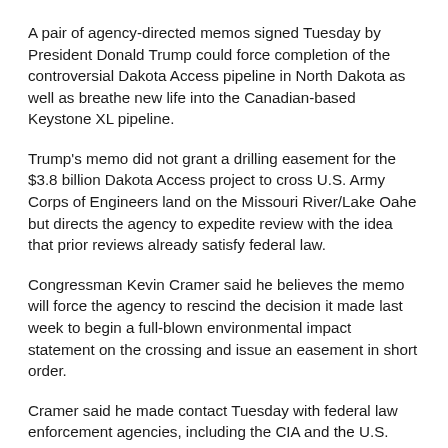A pair of agency-directed memos signed Tuesday by President Donald Trump could force completion of the controversial Dakota Access pipeline in North Dakota as well as breathe new life into the Canadian-based Keystone XL pipeline.
Trump's memo did not grant a drilling easement for the $3.8 billion Dakota Access project to cross U.S. Army Corps of Engineers land on the Missouri River/Lake Oahe but directs the agency to expedite review with the idea that prior reviews already satisfy federal law.
Congressman Kevin Cramer said he believes the memo will force the agency to rescind the decision it made last week to begin a full-blown environmental impact statement on the crossing and issue an easement in short order.
Cramer said he made contact Tuesday with federal law enforcement agencies, including the CIA and the U.S. Marshal service, in anticipation of pushback from hundreds of pipeline